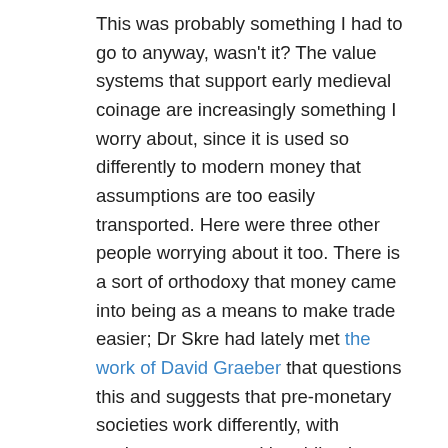This was probably something I had to go to anyway, wasn't it? The value systems that support early medieval coinage are increasingly something I worry about, since it is used so differently to modern money that assumptions are too easily transported. Here were three other people worrying about it too. There is a sort of orthodoxy that money came into being as a means to make trade easier; Dr Skre had lately met the work of David Graeber that questions this and suggests that pre-monetary societies work differently, with exchange structured by obligations, not by value; as soon as you have value as an independent concept, as a quantity that can be owed, a line has been crossed that the introduction of money doesn't alter.5 I've been agnostic about this so far but Dr Skre's looking at the earliest Norwegian lawcodes for compensation tariffs,